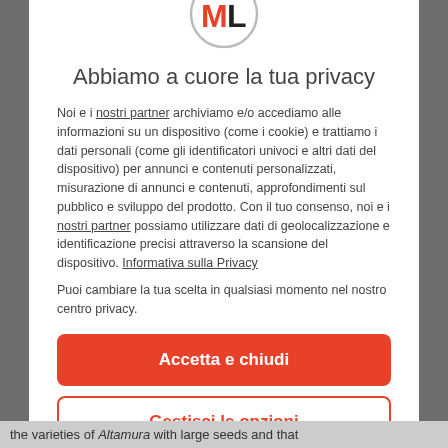[Figure (logo): ML logo: circle with red M and dark L letters]
Abbiamo a cuore la tua privacy
Noi e i nostri partner archiviamo e/o accediamo alle informazioni su un dispositivo (come i cookie) e trattiamo i dati personali (come gli identificatori univoci e altri dati del dispositivo) per annunci e contenuti personalizzati, misurazione di annunci e contenuti, approfondimenti sul pubblico e sviluppo del prodotto. Con il tuo consenso, noi e i nostri partner possiamo utilizzare dati di geolocalizzazione e identificazione precisi attraverso la scansione del dispositivo. Informativa sulla Privacy
Puoi cambiare la tua scelta in qualsiasi momento nel nostro centro privacy.
Accetta e chiudi
Gestisci le opzioni
Powered by clickio
the varieties of Altamura with large seeds and that